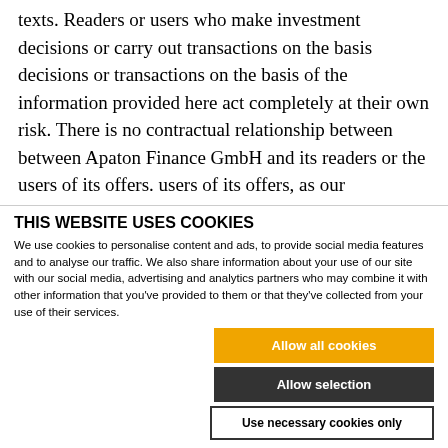texts. Readers or users who make investment decisions or carry out transactions on the basis decisions or transactions on the basis of the information provided here act completely at their own risk. There is no contractual relationship between between Apaton Finance GmbH and its readers or the users of its offers. users of its offers, as our
THIS WEBSITE USES COOKIES
We use cookies to personalise content and ads, to provide social media features and to analyse our traffic. We also share information about your use of our site with our social media, advertising and analytics partners who may combine it with other information that you've provided to them or that they've collected from your use of their services.
Allow all cookies
Allow selection
Use necessary cookies only
Necessary | Preferences | Statistics | Marketing | Show details